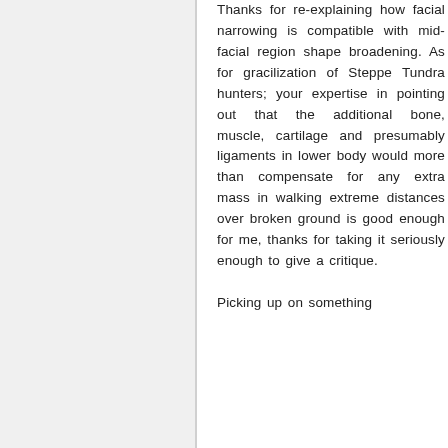Thanks for re-explaining how facial narrowing is compatible with mid-facial region shape broadening. As for gracilization of Steppe Tundra hunters; your expertise in pointing out that the additional bone, muscle, cartilage and presumably ligaments in lower body would more than compensate for any extra mass in walking extreme distances over broken ground is good enough for me, thanks for taking it seriously enough to give a critique.

Picking up on something